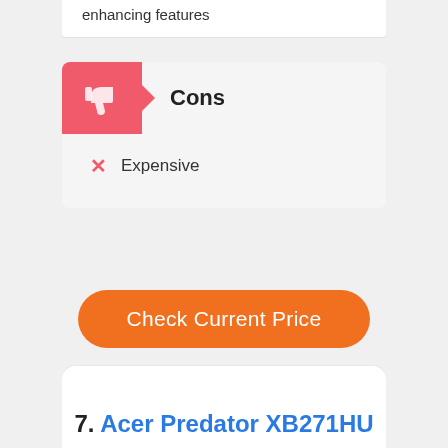enhancing features
Cons
Expensive
Check Current Price
7. Acer Predator XB271HU